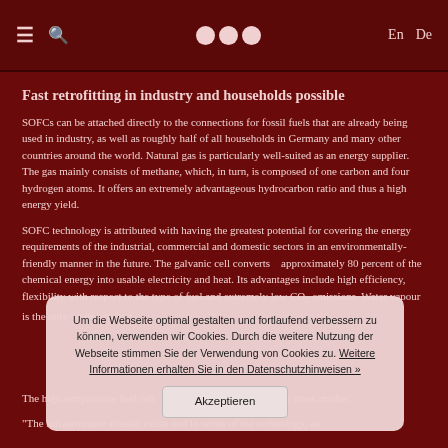≡ 🔍   ● ● ●   En  De
Fast retrofitting in industry and households possible
SOFCs can be attached directly to the connections for fossil fuels that are already being used in industry, as well as roughly half of all households in Germany and many other countries around the world. Natural gas is particularly well-suited as an energy supplier. The gas mainly consists of methane, which, in turn, is composed of one carbon and four hydrogen atoms. It offers an extremely advantageous hydrocarbon ratio and thus a high energy yield.
SOFC technology is attributed with having the greatest potential for covering the energy requirements of the industrial, commercial and domestic sectors in an environmentally-friendly manner in the future. The galvanic cell converts    approximately 80 percent of the chemical energy into usable electricity and heat. Its advantages include high efficiency, flexibility with respect to the type of fuel and extremely low CO₂ emissions. Water vapour is the only waste product.
The high temperature fuel cell ... the mass market"
"The infrastructure already exists and in terms of the technology, as